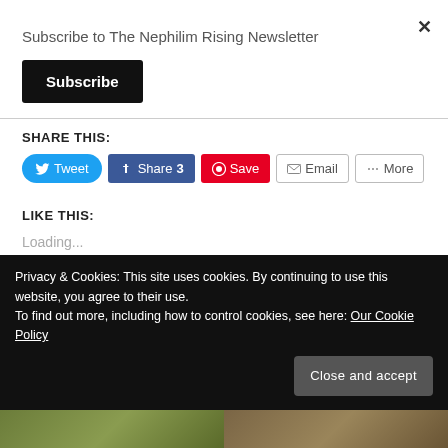Subscribe to The Nephilim Rising Newsletter
Subscribe
SHARE THIS:
Tweet | Share 3 | Save | Email | More
LIKE THIS:
Loading...
Privacy & Cookies: This site uses cookies. By continuing to use this website, you agree to their use.
To find out more, including how to control cookies, see here: Our Cookie Policy
Close and accept